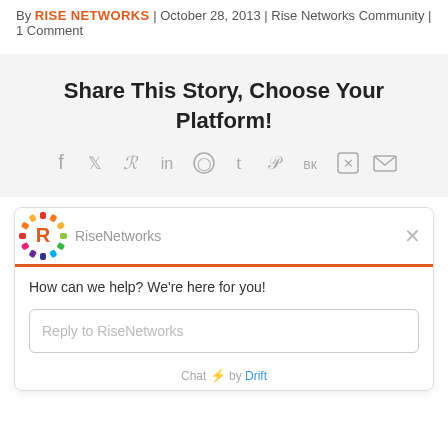By RISE NETWORKS | October 28, 2013 | Rise Networks Community | 1 Comment
Share This Story, Choose Your Platform!
[Figure (infographic): Social media sharing icons: Facebook, Twitter, Reddit, LinkedIn, WhatsApp, Tumblr, Pinterest, VK, Xing, Email]
[Figure (screenshot): Drift chat widget for RiseNetworks with logo, greeting message 'How can we help? We're here for you!', reply input box, and 'Chat by Drift' footer]